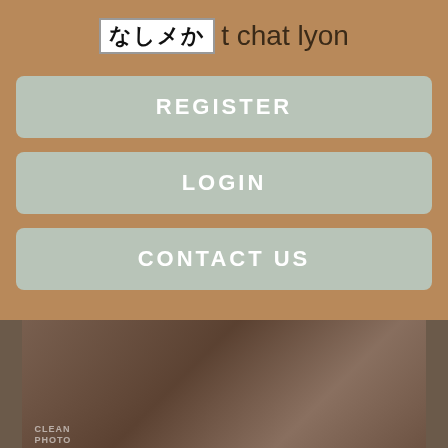なしメか t chat lyon
REGISTER
LOGIN
CONTACT US
[Figure (photo): Close-up photo of a person outdoors, cropped and dark.]
Free Townsville Chat Brian. No other Townsville chat sites compare! Chat Townsville New Melton dolls gentlemans club Chat.